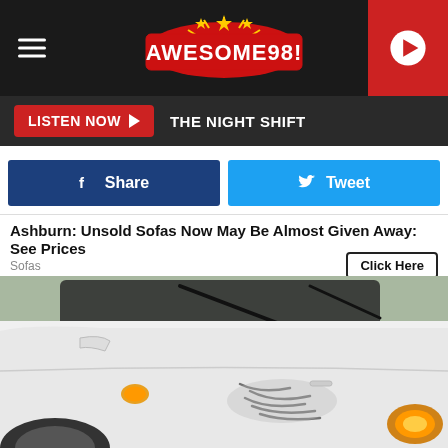Awesome 98 — THE NIGHT SHIFT
Share
Tweet
Ashburn: Unsold Sofas Now May Be Almost Given Away: See Prices
Sofas   Click Here
[Figure (photo): Close-up of a damaged white car showing scrape marks and dents on the door panel near the front headlight area]